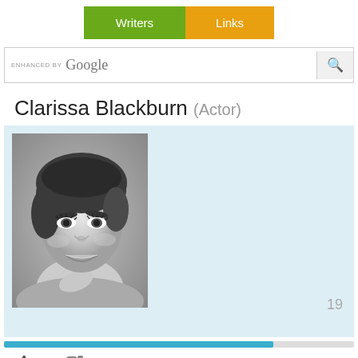Writers | Links
ENHANCED BY Google
Clarissa Blackburn (Actor)
[Figure (photo): Black and white portrait photo of Clarissa Blackburn, a smiling woman with short curly hair, chin resting on hand]
19
16  3